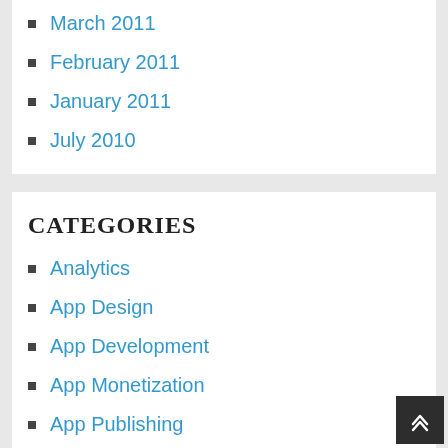March 2011
February 2011
January 2011
July 2010
CATEGORIES
Analytics
App Design
App Development
App Monetization
App Publishing
App Templates
Articles